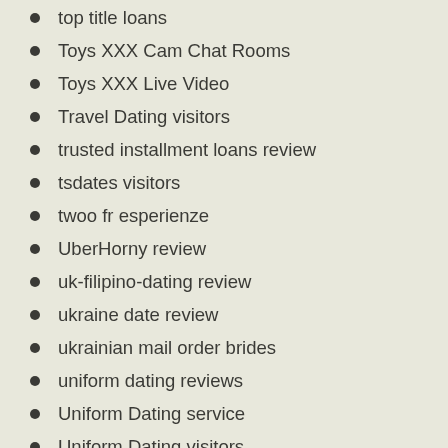top title loans
Toys XXX Cam Chat Rooms
Toys XXX Live Video
Travel Dating visitors
trusted installment loans review
tsdates visitors
twoo fr esperienze
UberHorny review
uk-filipino-dating review
ukraine date review
ukrainian mail order brides
uniform dating reviews
Uniform Dating service
Uniform Dating visitors
upforit fr review